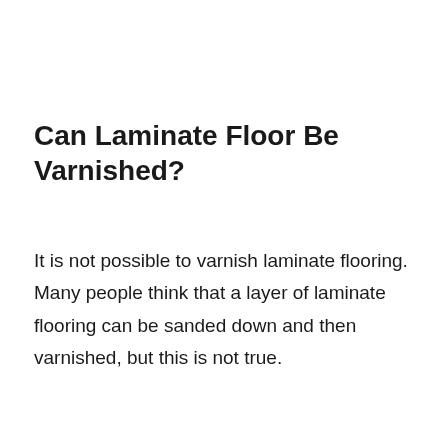Can Laminate Floor Be Varnished?
It is not possible to varnish laminate flooring. Many people think that a layer of laminate flooring can be sanded down and then varnished, but this is not true.